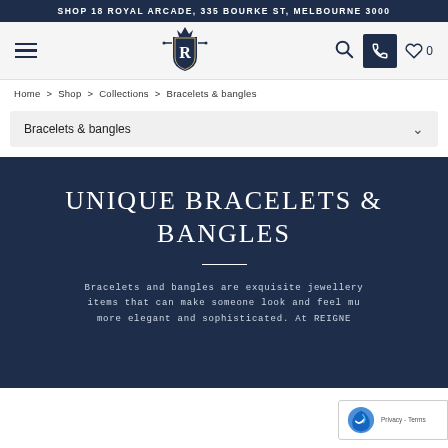SHOP 18 ROYAL ARCADE, 335 BOURKE ST, MELBOURNE 3000
[Figure (logo): Royal Arcade jewellery store logo with crown and shield bearing letter R, flanked by decorative elements]
Home > Shop > Collections > Bracelets & bangles
Bracelets & bangles
UNIQUE BRACELETS & BANGLES
Bracelets and bangles are exquisite jewellery items that can make someone look and feel mu more elegant and sophisticated. At REIGNE